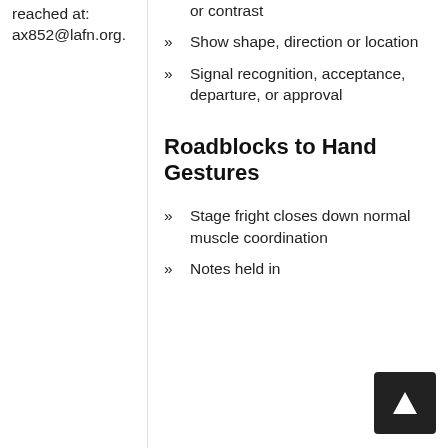reached at: ax852@lafn.org.
or contrast
Show shape, direction or location
Signal recognition, acceptance, departure, or approval
Roadblocks to Hand Gestures
Stage fright closes down normal muscle coordination
Notes held in